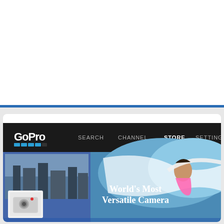[Figure (screenshot): Top portion of a website page, partially cut off at top, showing a white card area with blue bottom border strip]
GoPro app heading to Xbox One, Xbox 360
Posted by Andru Edwards
Categories: Microsoft, Xbox 360, Xbox Live, Xbox One,
[Figure (screenshot): Screenshot of the GoPro app interface showing the GoPro logo with navigation links: SEARCH, CHANNEL, STORE, SETTINGS. Large hero image of a female surfer riding a wave with text 'World's Most Versatile Camera' and a GoPro camera product image on the left side.]